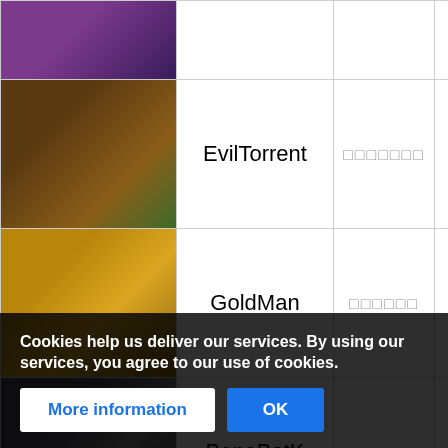| Image | Name | Category | Level | HP |
| --- | --- | --- | --- | --- |
| [img] | MedatK | □□□□□ | 84 | 2626 |
| [img] | EvilTorrent | □□□□□□□ | 84 | 2451 |
| [img] | GoldMan | □□□□□□ | 84 | 2452 |
| [img] | BoneBatK | □□□□□□□□ | 84 | 2640 |
| [img] | Bostroll | □□□□□□ | 84 | 3015 |
| [img] | DeathCelt | □□□□ | 84 | 2223 |
| [img] | Ki... | ... | 84 | 1300 |
Cookies help us deliver our services. By using our services, you agree to our use of cookies.